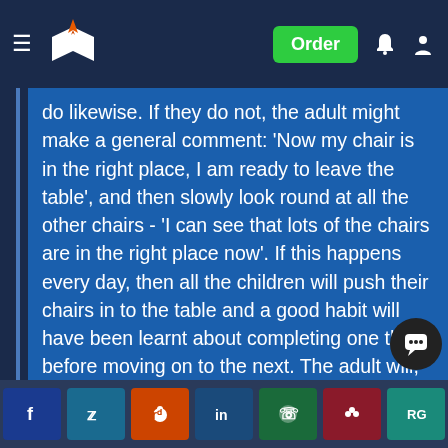Navigation bar with logo, Order button, and icons
do likewise. If they do not, the adult might make a general comment: 'Now my chair is in the right place, I am ready to leave the table', and then slowly look round at all the other chairs - 'I can see that lots of the chairs are in the right place now'. If this happens every day, then all the children will push their chairs in to the table and a good habit will have been learnt about completing one thing before moving on to the next. The adult will, of course, have to keep repeating the action herself for the habit to be maintained" (Tapler, 2011, p. 89).
Social share buttons: Facebook, Twitter, Reddit, LinkedIn, WhatsApp, Mendeley, ResearchGate